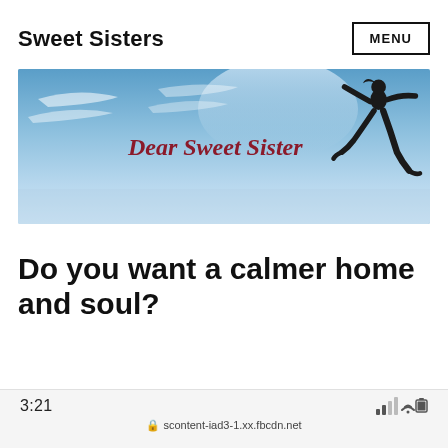Sweet Sisters    MENU
[Figure (photo): Banner image with blue sky background, silhouette of a jumping person, and italic red text 'Dear Sweet Sister']
Do you want a calmer home and soul?
3:21   scontent-iad3-1.xx.fbcdn.net